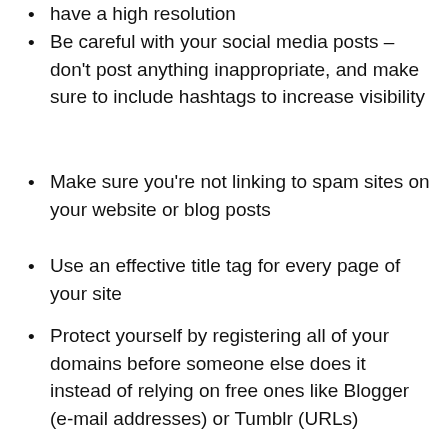have a high resolution
Be careful with your social media posts – don't post anything inappropriate, and make sure to include hashtags to increase visibility
Make sure you're not linking to spam sites on your website or blog posts
Use an effective title tag for every page of your site
Protect yourself by registering all of your domains before someone else does it instead of relying on free ones like Blogger (e-mail addresses) or Tumblr (URLs)
How Does Technical Search Engine Optimization Work?